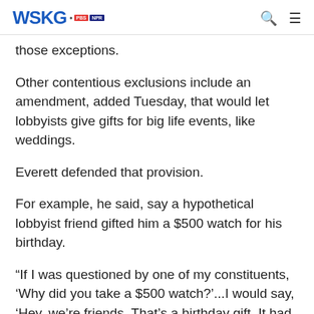WSKG PBS NPR
those exceptions.
Other contentious exclusions include an amendment, added Tuesday, that would let lobbyists give gifts for big life events, like weddings.
Everett defended that provision.
For example, he said, say a hypothetical lobbyist friend gifted him a $500 watch for his birthday.
“If I was questioned by one of my constituents, ‘Why did you take a $500 watch?’...I would say, ‘Hey, we’re friends. That’s a birthday gift. It had nothing to do with any particular piece of